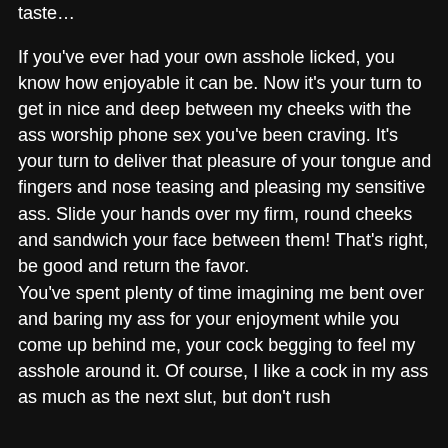taste...
If you've ever had your own asshole licked, you know how enjoyable it can be. Now it's your turn to get in nice and deep between my cheeks with the ass worship phone sex you've been craving. It's your turn to deliver that pleasure of your tongue and fingers and nose teasing and pleasing my sensitive ass. Slide your hands over my firm, round cheeks and sandwich your face between them! That's right, be good and return the favor.
You've spent plenty of time imagining me bent over and baring my ass for your enjoyment while you come up behind me, your cock begging to feel my asshole around it. Of course, I like a cock in my ass as much as the next slut, but don't rush